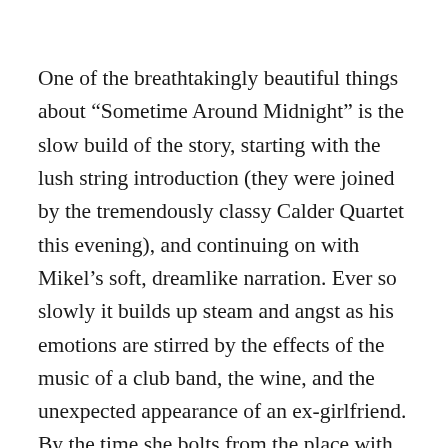One of the breathtakingly beautiful things about “Sometime Around Midnight” is the slow build of the story, starting with the lush string introduction (they were joined by the tremendously classy Calder Quartet this evening), and continuing on with Mikel’s soft, dreamlike narration. Ever so slowly it builds up steam and angst as his emotions are stirred by the effects of the music of a club band, the wine, and the unexpected appearance of an ex-girlfriend. By the time she bolts from the place with the new boyfriend, the music is surging, the vocals are soaring, and the jilted lover is left to wander those late-night city streets in blind,